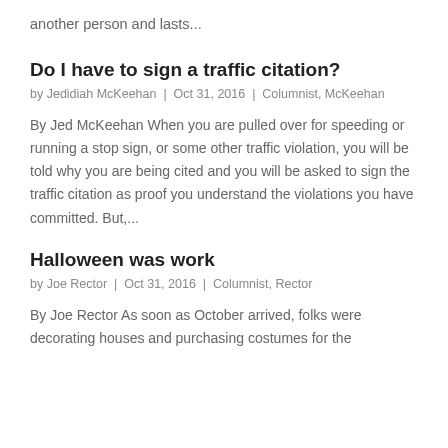another person and lasts...
Do I have to sign a traffic citation?
by Jedidiah McKeehan | Oct 31, 2016 | Columnist, McKeehan
By Jed McKeehan When you are pulled over for speeding or running a stop sign, or some other traffic violation, you will be told why you are being cited and you will be asked to sign the traffic citation as proof you understand the violations you have committed. But,...
Halloween was work
by Joe Rector | Oct 31, 2016 | Columnist, Rector
By Joe Rector As soon as October arrived, folks were decorating houses and purchasing costumes for the